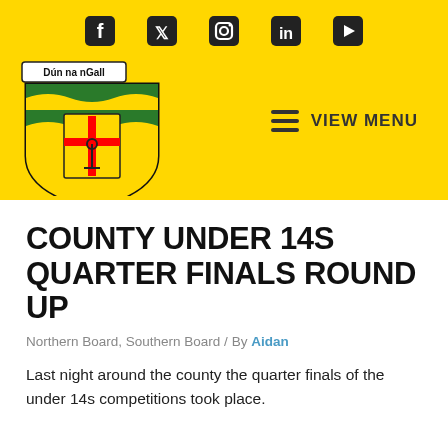Dún na nGall – Social icons: Facebook, Twitter, Instagram, LinkedIn, YouTube – VIEW MENU
COUNTY UNDER 14S QUARTER FINALS ROUND UP
Northern Board, Southern Board / By Aidan
Last night around the county the quarter finals of the under 14s competitions took place.